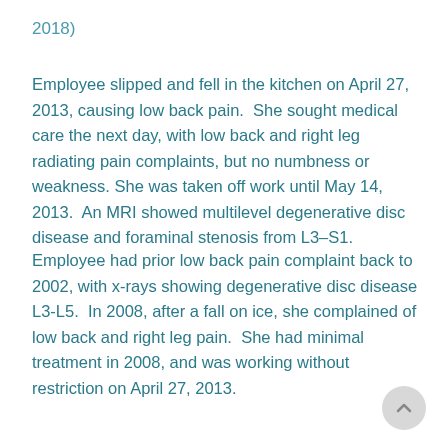2018)
Employee slipped and fell in the kitchen on April 27, 2013, causing low back pain.  She sought medical care the next day, with low back and right leg radiating pain complaints, but no numbness or weakness. She was taken off work until May 14, 2013.  An MRI showed multilevel degenerative disc disease and foraminal stenosis from L3–S1.
Employee had prior low back pain complaint back to 2002, with x-rays showing degenerative disc disease L3-L5.  In 2008, after a fall on ice, she complained of low back and right leg pain.  She had minimal treatment in 2008, and was working without restriction on April 27, 2013.